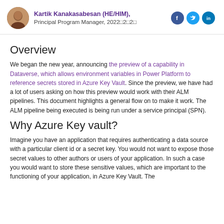Kartik Kanakasabesan (HE/HIM), Principal Program Manager, 2022□2□2□
Overview
We began the new year, announcing the preview of a capability in Dataverse, which allows environment variables in Power Platform to reference secrets stored in Azure Key Vault. Since the preview, we have had a lot of users asking on how this preview would work with their ALM pipelines. This document highlights a general flow on to make it work. The ALM pipeline being executed is being run under a service principal (SPN).
Why Azure Key vault?
Imagine you have an application that requires authenticating a data source with a particular client id or a secret key. You would not want to expose those secret values to other authors or users of your application. In such a case you would want to store these sensitive values, which are important to the functioning of your application, in Azure Key Vault. The